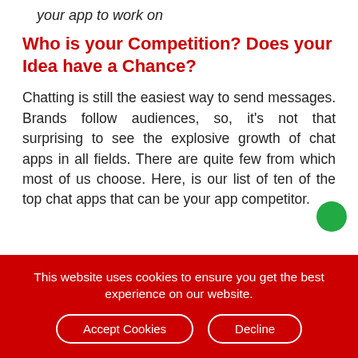your app to work on
Who is your Competition? Does your Idea have a Chance?
Chatting is still the easiest way to send messages. Brands follow audiences, so, it's not that surprising to see the explosive growth of chat apps in all fields. There are quite few from which most of us choose. Here, is our list of ten of the top chat apps that can be your app competitor.
This website uses cookies to ensure you get the best experience on our website.